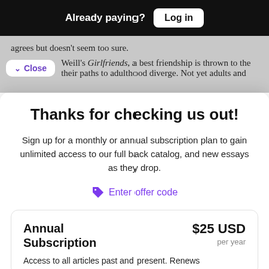Already paying? Log in
agrees but doesn't seem too sure.
Weill's Girlfriends, a best friendship is thrown to the their paths to adulthood diverge. Not yet adults and
Thanks for checking us out!
Sign up for a monthly or annual subscription plan to gain unlimited access to our full back catalog, and new essays as they drop.
Enter offer code
| Annual Subscription | $25 USD per year |
| --- | --- |
| Access to all articles past and present. Renews |  |